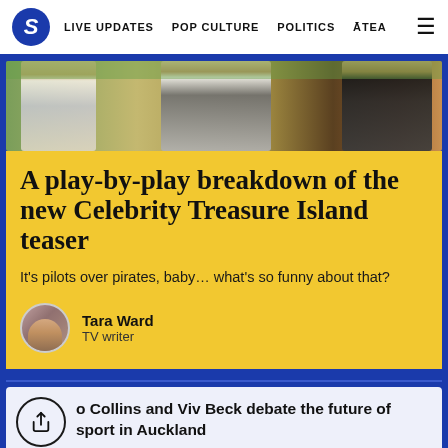S  LIVE UPDATES  POP CULTURE  POLITICS  ĀTEA  ☰
[Figure (photo): Three people photographed outdoors, partially visible, with green foliage in background]
A play-by-play breakdown of the new Celebrity Treasure Island teaser
It's pilots over pirates, baby… what's so funny about that?
Tara Ward
TV writer
o Collins and Viv Beck debate the future of sport in Auckland
Shanti Mathias